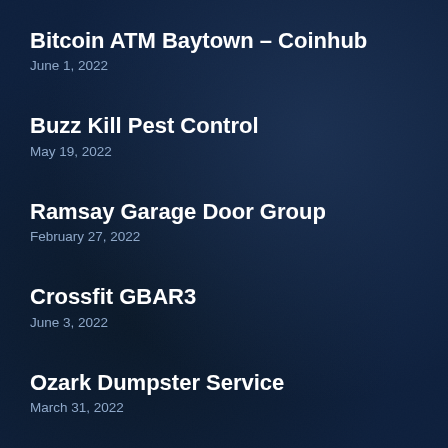Bitcoin ATM Baytown – Coinhub
June 1, 2022
Buzz Kill Pest Control
May 19, 2022
Ramsay Garage Door Group
February 27, 2022
Crossfit GBAR3
June 3, 2022
Ozark Dumpster Service
March 31, 2022